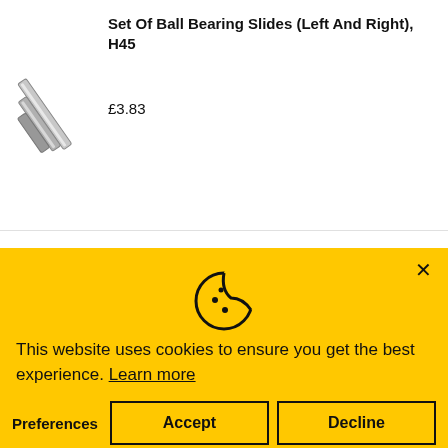[Figure (photo): Photo of ball bearing slides (left and right), H45 - metallic rail hardware]
Set Of Ball Bearing Slides (Left And Right), H45
£3.83
[Figure (photo): Photo of auto-lock ball bearing slides (left and right), H45 - metallic rail hardware]
Set Of Auto-Lock Ball Bearing Slides (Left And Right), H45
£3.91
This website uses cookies to ensure you get the best experience. Learn more
Preferences
Accept
Decline
[Figure (photo): Partially visible product image at bottom]
£20.62